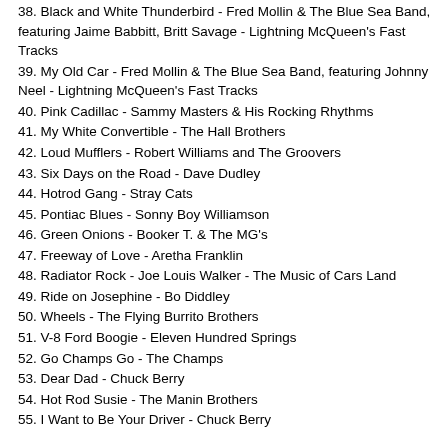38. Black and White Thunderbird - Fred Mollin & The Blue Sea Band, featuring Jaime Babbitt, Britt Savage - Lightning McQueen's Fast Tracks
39. My Old Car - Fred Mollin & The Blue Sea Band, featuring Johnny Neel - Lightning McQueen's Fast Tracks
40. Pink Cadillac - Sammy Masters & His Rocking Rhythms
41. My White Convertible - The Hall Brothers
42. Loud Mufflers - Robert Williams and The Groovers
43. Six Days on the Road - Dave Dudley
44. Hotrod Gang - Stray Cats
45. Pontiac Blues - Sonny Boy Williamson
46. Green Onions - Booker T. & The MG's
47. Freeway of Love - Aretha Franklin
48. Radiator Rock - Joe Louis Walker - The Music of Cars Land
49. Ride on Josephine - Bo Diddley
50. Wheels - The Flying Burrito Brothers
51. V-8 Ford Boogie - Eleven Hundred Springs
52. Go Champs Go - The Champs
53. Dear Dad - Chuck Berry
54. Hot Rod Susie - The Manin Brothers
55. I Want to Be Your Driver - Chuck Berry